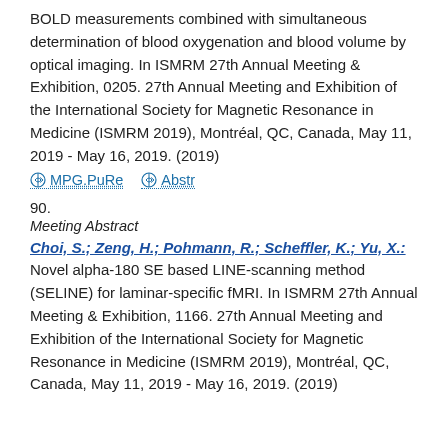BOLD measurements combined with simultaneous determination of blood oxygenation and blood volume by optical imaging. In ISMRM 27th Annual Meeting & Exhibition, 0205. 27th Annual Meeting and Exhibition of the International Society for Magnetic Resonance in Medicine (ISMRM 2019), Montréal, QC, Canada, May 11, 2019 - May 16, 2019. (2019)
MPG.PuRe   Abstr
90.
Meeting Abstract
Choi, S.; Zeng, H.; Pohmann, R.; Scheffler, K.; Yu, X.: Novel alpha-180 SE based LINE-scanning method (SELINE) for laminar-specific fMRI. In ISMRM 27th Annual Meeting & Exhibition, 1166. 27th Annual Meeting and Exhibition of the International Society for Magnetic Resonance in Medicine (ISMRM 2019), Montréal, QC, Canada, May 11, 2019 - May 16, 2019. (2019)